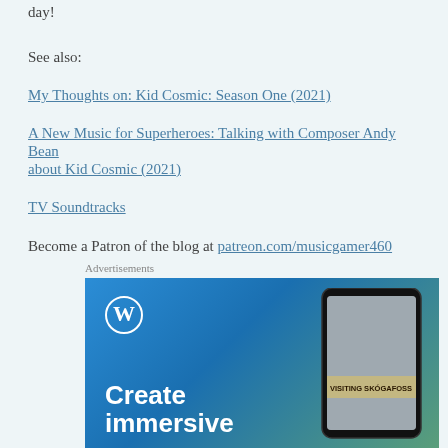day!
See also:
My Thoughts on: Kid Cosmic: Season One (2021)
A New Music for Superheroes: Talking with Composer Andy Bean about Kid Cosmic (2021)
TV Soundtracks
Become a Patron of the blog at patreon.com/musicgamer460
Advertisements
[Figure (photo): WordPress advertisement showing 'Create immersive' text with WordPress logo and a phone mockup showing 'Visiting Skogafoss']